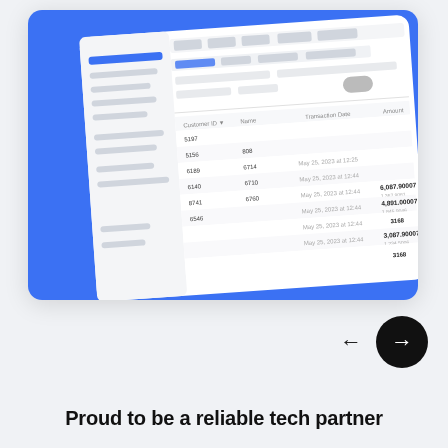[Figure (screenshot): Screenshot of a software dashboard UI displayed on a tablet-like surface at an angle, with a blue background. The dashboard shows a navigation menu on the left and a data table with rows and columns on the right side.]
[Figure (other): Navigation controls: a left arrow and a black circular button with a right arrow (next button).]
Proud to be a reliable tech partner